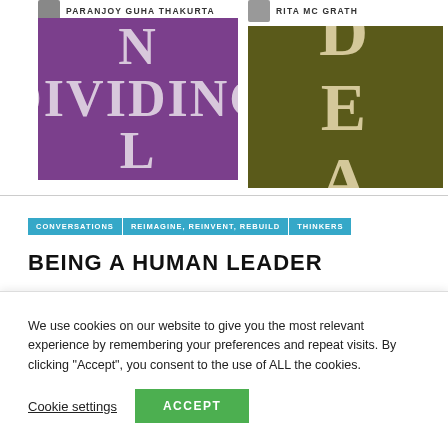PARANJOY GUHA THAKURTA
[Figure (photo): Book cover with purple background showing text 'DIVIDING' in large stylized letters]
RITA MC GRATH
[Figure (photo): Book cover with dark olive/brown background showing large letters 'D E A' arranged vertically]
CONVERSATIONS | REIMAGINE, REINVENT, REBUILD | THINKERS
BEING A HUMAN LEADER
We use cookies on our website to give you the most relevant experience by remembering your preferences and repeat visits. By clicking “Accept”, you consent to the use of ALL the cookies.
Cookie settings
ACCEPT